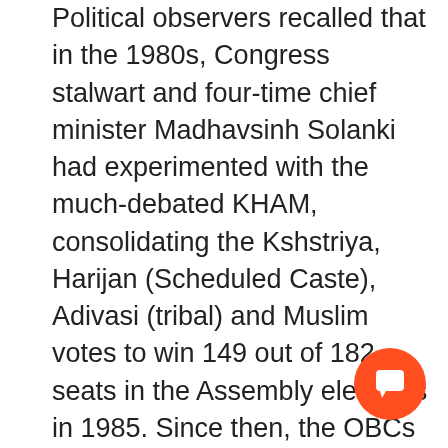Political observers recalled that in the 1980s, Congress stalwart and four-time chief minister Madhavsinh Solanki had experimented with the much-debated KHAM, consolidating the Kshstriya, Harijan (Scheduled Caste), Adivasi (tribal) and Muslim votes to win 149 out of 182 seats in the Assembly elections in 1985. Since then, the OBCs stayed with the Congress till Mr Narendra Modi came to power as Chief Minister.
The BJP, after Mr Modi became CM in 2001, fought the 2002, 2007 and 2012 Assembly elections mainly on the Hindutva and development planks.